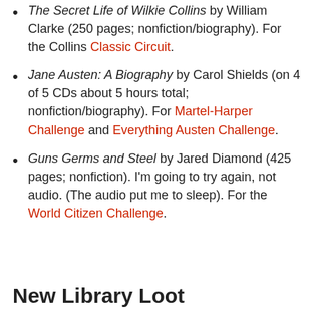The Secret Life of Wilkie Collins by William Clarke (250 pages; nonfiction/biography). For the Collins Classic Circuit.
Jane Austen: A Biography by Carol Shields (on 4 of 5 CDs about 5 hours total; nonfiction/biography). For Martel-Harper Challenge and Everything Austen Challenge.
Guns Germs and Steel by Jared Diamond (425 pages; nonfiction). I'm going to try again, not audio. (The audio put me to sleep). For the World Citizen Challenge.
New Library Loot